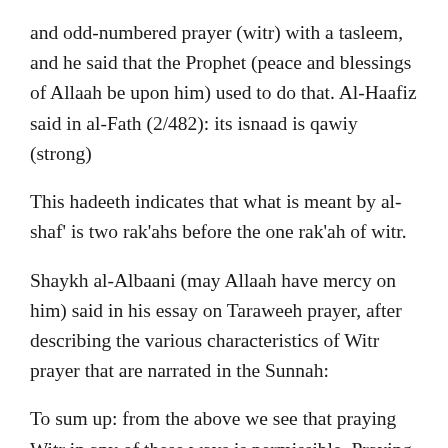and odd-numbered prayer (witr) with a tasleem, and he said that the Prophet (peace and blessings of Allaah be upon him) used to do that. Al-Haafiz said in al-Fath (2/482): its isnaad is qawiy (strong)
This hadeeth indicates that what is meant by al-shaf' is two rak'ahs before the one rak'ah of witr.
Shaykh al-Albaani (may Allaah have mercy on him) said in his essay on Taraweeh prayer, after describing the various characteristics of Witr prayer that are narrated in the Sunnah:
To sum up: from the above we see that praying Witr in any of these ways is permissible. Praying three